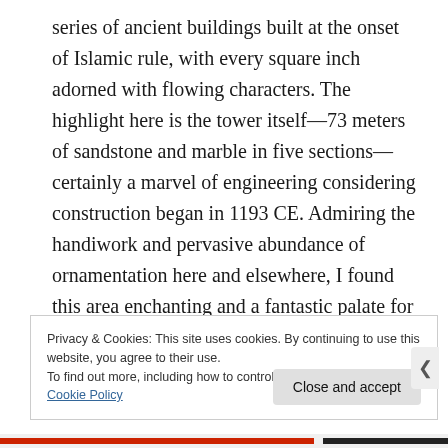series of ancient buildings built at the onset of Islamic rule, with every square inch adorned with flowing characters. The highlight here is the tower itself—73 meters of sandstone and marble in five sections—certainly a marvel of engineering considering construction began in 1193 CE. Admiring the handiwork and pervasive abundance of ornamentation here and elsewhere, I found this area enchanting and a fantastic palate for some great photo ops.
Privacy & Cookies: This site uses cookies. By continuing to use this website, you agree to their use.
To find out more, including how to control cookies, see here: Cookie Policy